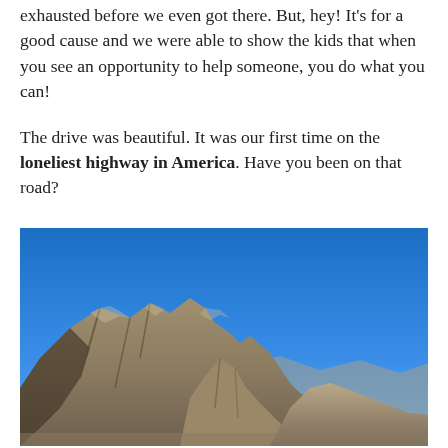exhausted before we even got there. But, hey! It's for a good cause and we were able to show the kids that when you see an opportunity to help someone, you do what you can!
The drive was beautiful. It was our first time on the loneliest highway in America. Have you been on that road?
[Figure (photo): Photograph of a rugged rocky mountain range under a vivid clear blue sky, taken along a highway in the American West.]